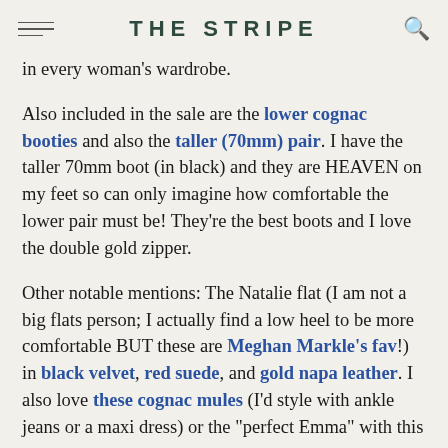THE STRIPE
in every woman's wardrobe.
Also included in the sale are the lower cognac booties and also the taller (70mm) pair. I have the taller 70mm boot (in black) and they are HEAVEN on my feet so can only imagine how comfortable the lower pair must be! They're the best boots and I love the double gold zipper.
Other notable mentions: The Natalie flat (I am not a big flats person; I actually find a low heel to be more comfortable BUT these are Meghan Markle's fav!) in black velvet, red suede, and gold napa leather. I also love these cognac mules (I'd style with ankle jeans or a maxi dress) or the "perfect Emma" with this gorgeous